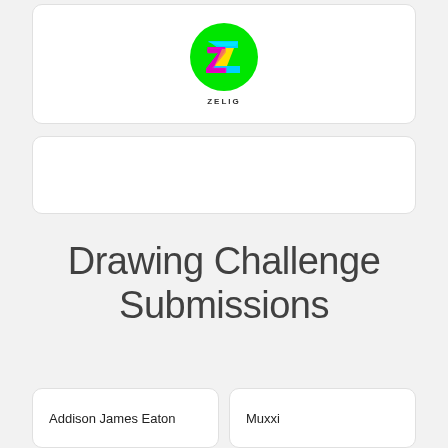[Figure (logo): Zelig logo: green circle with a colorful Z letter (pink, cyan, yellow) in the center, with the word ZELIG below in bold small caps]
[Figure (other): Advertisement or placeholder card (blank white rounded rectangle)]
Drawing Challenge Submissions
Addison James Eaton
Muxxi